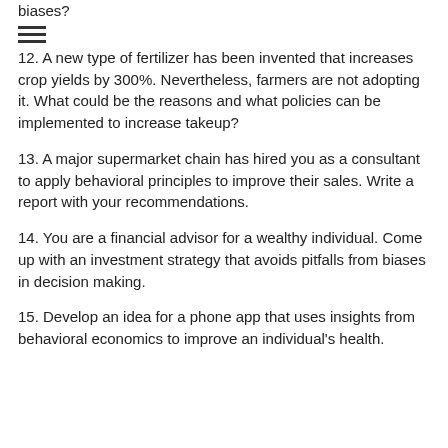biases?
12. A new type of fertilizer has been invented that increases crop yields by 300%. Nevertheless, farmers are not adopting it. What could be the reasons and what policies can be implemented to increase takeup?
13. A major supermarket chain has hired you as a consultant to apply behavioral principles to improve their sales. Write a report with your recommendations.
14. You are a financial advisor for a wealthy individual. Come up with an investment strategy that avoids pitfalls from biases in decision making.
15. Develop an idea for a phone app that uses insights from behavioral economics to improve an individual's health.